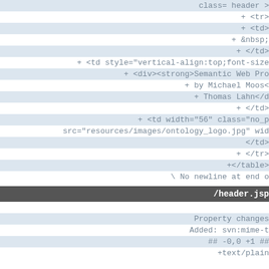class= header >
+ <tr>
+ <td>
+ &nbsp;
+ </td>
+ <td style="vertical-align:top;font-size
+ <div><strong>Semantic Web Pro
+ by Michael Moos<
+ Thomas Lahn</d
+ </td>
+ <td width="56" class="no_p
src="resources/images/ontology_logo.jpg" wid
</td>
+ </tr>
+</table>
\ No newline at end o
/header.jsp
Property changes
Added: svn:mime-t
## -0,0 +1 ##
+text/plain